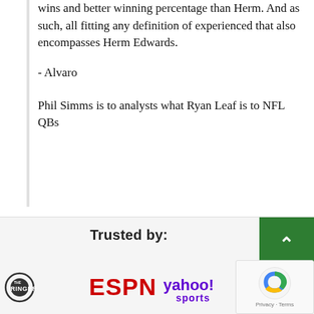wins and better winning percentage than Herm. And as such, all fitting any definition of experienced that also encompasses Herm Edwards.
- Alvaro
Phil Simms is to analysts what Ryan Leaf is to NFL QBs
Trusted by:
[Figure (logo): The Ringer logo, ESPN logo, Yahoo Sports logo, and Madden ratings logo arranged in a row]